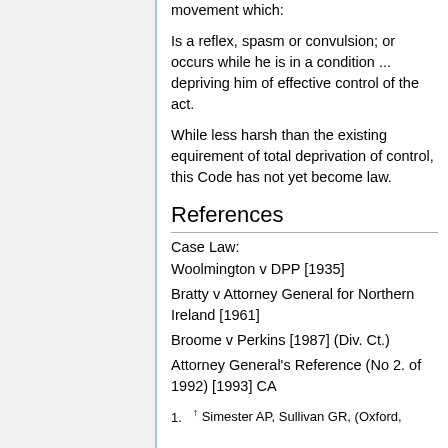movement which:
Is a reflex, spasm or convulsion; or occurs while he is in a condition ... depriving him of effective control of the act.
While less harsh than the existing equirement of total deprivation of control, this Code has not yet become law.
References
Case Law:
Woolmington v DPP [1935]
Bratty v Attorney General for Northern Ireland [1961]
Broome v Perkins [1987] (Div. Ct.)
Attorney General's Reference (No 2. of 1992) [1993] CA
1. ↑ Simester AP, Sullivan GR, (Oxford,